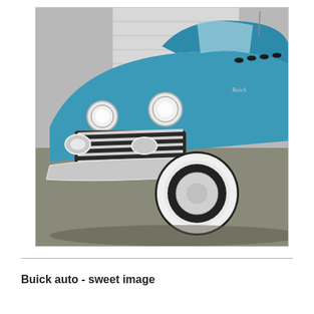[Figure (photo): Front three-quarter view of a classic vintage Buick convertible automobile in metallic teal/blue color, with prominent chrome grille, round headlights, whitewall tires, and chrome bumper, parked on pavement in front of a grey wall and white garage door.]
Buick auto - sweet image